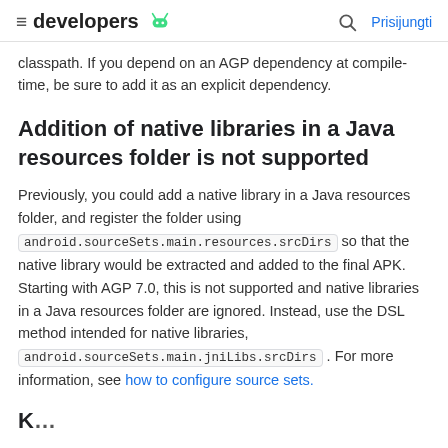developers  Prisijungti
classpath. If you depend on an AGP dependency at compile-time, be sure to add it as an explicit dependency.
Addition of native libraries in a Java resources folder is not supported
Previously, you could add a native library in a Java resources folder, and register the folder using android.sourceSets.main.resources.srcDirs so that the native library would be extracted and added to the final APK. Starting with AGP 7.0, this is not supported and native libraries in a Java resources folder are ignored. Instead, use the DSL method intended for native libraries, android.sourceSets.main.jniLibs.srcDirs . For more information, see how to configure source sets.
K…